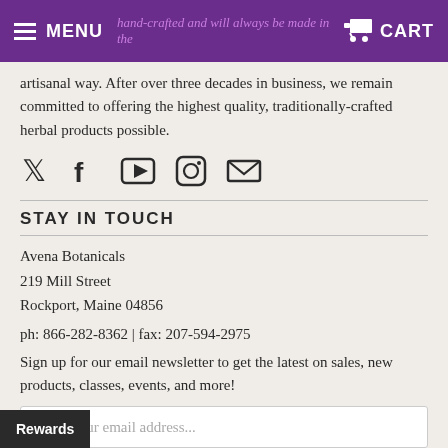MENU  CART
hand-crafted and will always be made in the artisanal way. After over three decades in business, we remain committed to offering the highest quality, traditionally-crafted herbal products possible.
[Figure (infographic): Row of social media icons: Twitter, Facebook, YouTube, Instagram, Email]
STAY IN TOUCH
Avena Botanicals
219 Mill Street
Rockport, Maine 04856
ph: 866-282-8362 | fax: 207-594-2975
Sign up for our email newsletter to get the latest on sales, new products, classes, events, and more!
Enter your email address...